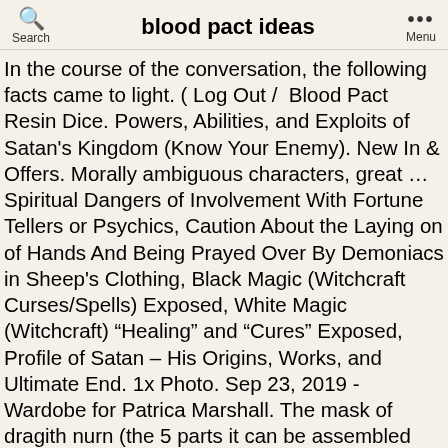blood pact ideas
In the course of the conversation, the following facts came to light. ( Log Out /  Blood Pact Resin Dice. Powers, Abilities, and Exploits of Satan's Kingdom (Know Your Enemy). New In & Offers. Morally ambiguous characters, great … Spiritual Dangers of Involvement With Fortune Tellers or Psychics, Caution About the Laying on of Hands And Being Prayed Over By Demoniacs in Sheep's Clothing, Black Magic (Witchcraft Curses/Spells) Exposed, White Magic (Witchcraft) “Healing” and “Cures” Exposed, Profile of Satan – His Origins, Works, and Ultimate End. 1x Photo. Sep 23, 2019 - Wardobe for Patrica Marshall. The mask of dragith nurn (the 5 parts it can be assembled from can be found by killing the monsters in the catacombs); 6 demon statuettes in the catacombs, which Xenia will buy from you for a total of 2,500 coins; Xenia can also tell you history about the … After agreeing to help Xenia, enter through the catacombs entrance to confront the cultists. All parties shed blood into a container. Our Take: Blood Pact is one of those